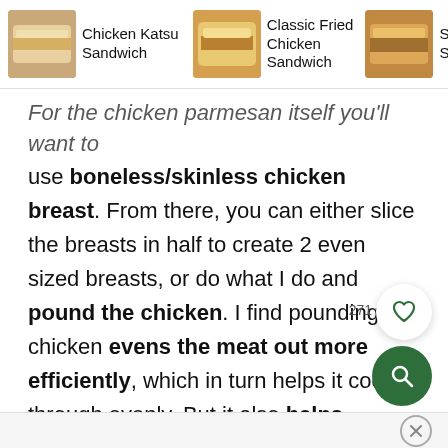[Figure (screenshot): Top navigation bar showing three food items: Chicken Katsu Sandwich, Classic Fried Chicken Sandwich, and Spicy Chicken Sandwich with food photos and a right arrow button]
For the chicken parmesan itself you'll want to use boneless/skinless chicken breast. From there, you can either slice the breasts in half to create 2 even sized breasts, or do what I do and pound the chicken. I find pounding the chicken evens the meat out more efficiently, which in turn helps it cook through evenly. But it also helps tenderize the meat, meaning it comes out nice and soft once cooked.